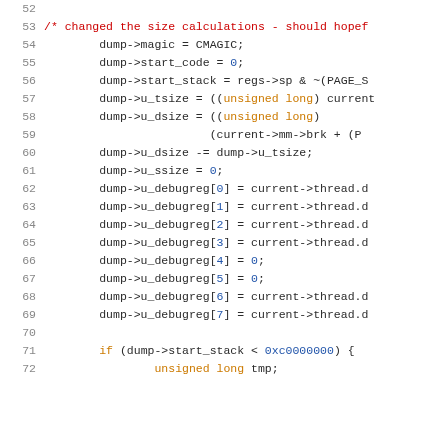Source code listing, lines 52-72, C kernel code showing dump structure field assignments and u_debugreg array assignments.